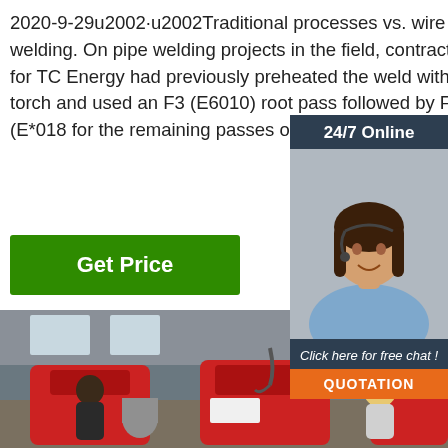2020-9-29u2002·u2002Traditional processes vs. wire welding. On pipe welding projects in the field, contractors for TC Energy had previously preheated the weld with a torch and used an F3 (E6010) root pass followed by F4 (E*018...) for the remaining passes on thicker P1 p... material.
[Figure (other): Green 'Get Price' button]
[Figure (photo): Customer service representative with headset, 24/7 Online sidebar panel with 'Click here for free chat!' and QUOTATION button]
[Figure (photo): Industrial welding machinery in a factory/warehouse setting with workers in hard hats]